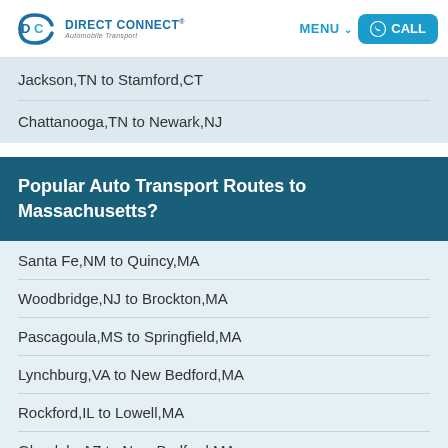Direct Connect Automobile Transport — MENU CALL
Jackson,TN to Stamford,CT
Chattanooga,TN to Newark,NJ
Popular Auto Transport Routes to Massachusetts?
Santa Fe,NM to Quincy,MA
Woodbridge,NJ to Brockton,MA
Pascagoula,MS to Springfield,MA
Lynchburg,VA to New Bedford,MA
Rockford,IL to Lowell,MA
Glendale,AZ to New Bedford,MA